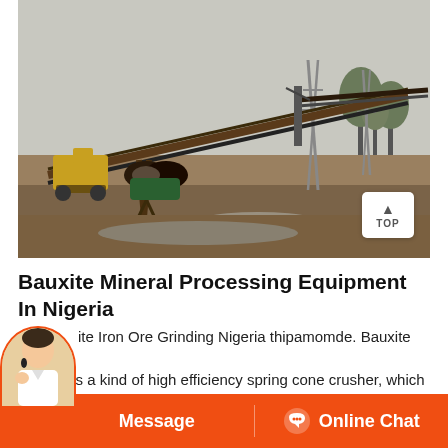[Figure (photo): Outdoor industrial mining site showing a large conveyor belt system mounted on metal supports, with a yellow excavator visible in the background on the left, power line towers in the middle-right background, trees on the far right, overcast sky. The scene is a bauxite or mineral processing outdoor facility.]
Bauxite Mineral Processing Equipment In Nigeria
Bauxite Iron Ore Grinding Nigeria thipamomde. Bauxite Iron Ore crusher is a kind of high efficiency spring cone crusher, which integrate...